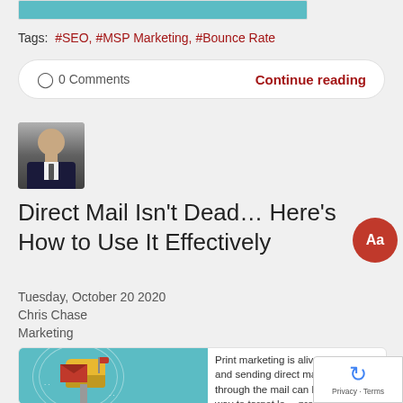[Figure (illustration): Top portion of a blog post image (teal/blue color strip)]
Tags: #SEO, #MSP Marketing, #Bounce Rate
0 Comments  Continue reading
[Figure (photo): Author headshot photo - man in suit]
Direct Mail Isn’t Dead… Here’s How to Use It Effectively
Tuesday, October 20 2020
Chris Chase
Marketing
[Figure (illustration): Teal background illustration of a mailbox with envelope and flag]
Print marketing is alive and well and sending direct mail pieces through the mail can be effective way to target leads, prospects, and clients.